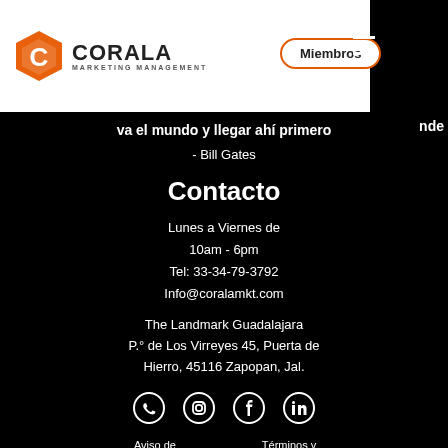[Figure (logo): Corala Marketing Management logo with orange hexagon icon and bold text]
Miembros
va el mundo y llegar ahí primero
- Bill Gates
Contacto
Lunes a Viernes de
10am - 6pm
Tel: 33-34-79-3792
Info@coralamkt.com
The Landmark Guadalajara
P.° de Los Virreyes 45, Puerta de Hierro, 45116 Zapopan, Jal.
[Figure (other): Social media icons: WhatsApp, Instagram, Facebook, LinkedIn]
Aviso de privacidad
Términos y condiciones
Corala Marketing© 2020 Todos los derechos